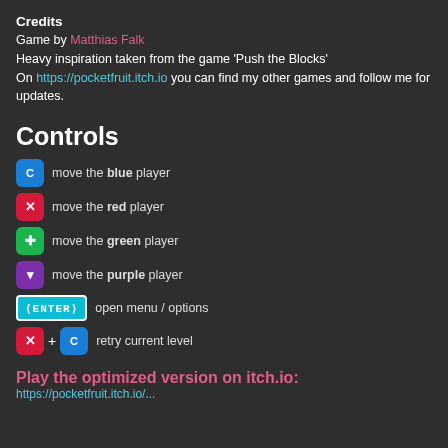Credits
Game by Matthias Falk
Heavy inspiration taken from the game 'Push the Blocks'
On https://pocketfruit.itch.io you can find my other games and follow me for updates.
Controls
[blue controller icon] move the blue player
[red controller icon] move the red player
[green controller icon] move the green player
[purple controller icon] move the purple player
[ENTER] open menu / options
[red icon] + [blue icon] retry current level
Play the optimized version on itch.io:
https://pocketfruit.itch.io/...